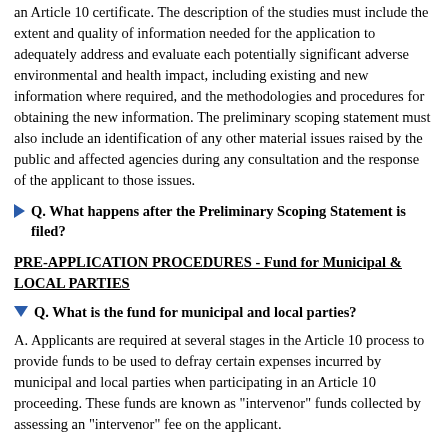an Article 10 certificate. The description of the studies must include the extent and quality of information needed for the application to adequately address and evaluate each potentially significant adverse environmental and health impact, including existing and new information where required, and the methodologies and procedures for obtaining the new information. The preliminary scoping statement must also include an identification of any other material issues raised by the public and affected agencies during any consultation and the response of the applicant to those issues.
Q. What happens after the Preliminary Scoping Statement is filed?
PRE-APPLICATION PROCEDURES - Fund for Municipal & LOCAL PARTIES
Q. What is the fund for municipal and local parties?
A. Applicants are required at several stages in the Article 10 process to provide funds to be used to defray certain expenses incurred by municipal and local parties when participating in an Article 10 proceeding. These funds are known as "intervenor" funds collected by assessing an "intervenor" fee on the applicant.